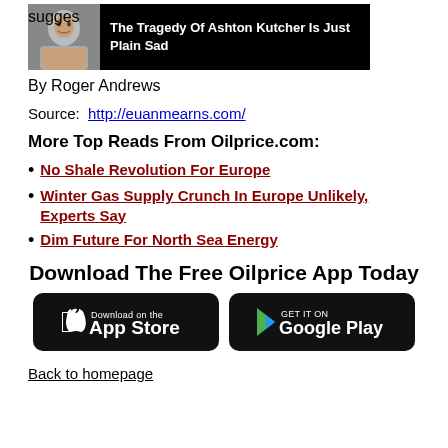[Figure (photo): Ad banner with photo of Ashton Kutcher and text 'The Tragedy Of Ashton Kutcher Is Just Plain Sad' on black background]
By Roger Andrews
Source:  http://euanmearns.com/
More Top Reads From Oilprice.com:
No Shale Revolution For Europe
Winter Gas Supply Crunch In Europe Unlikely, Experts Say
Dim Future For North Sea Energy
Download The Free Oilprice App Today
[Figure (illustration): Download on the App Store button (black)]
[Figure (illustration): Get it on Google Play button (black)]
Back to homepage